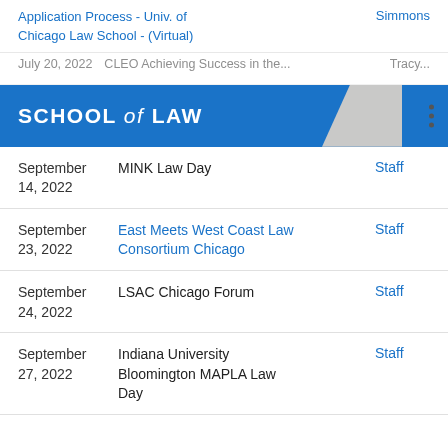Application Process - Univ. of Chicago Law School - (Virtual)
Simmons
July 20, 2022   CLEO Achieving Success in the...   Tracy...
SCHOOL of LAW
| Date | Event | Contact |
| --- | --- | --- |
| September 14, 2022 | MINK Law Day | Staff |
| September 23, 2022 | East Meets West Coast Law Consortium Chicago | Staff |
| September 24, 2022 | LSAC Chicago Forum | Staff |
| September 27, 2022 | Indiana University Bloomington MAPLA Law Day | Staff |